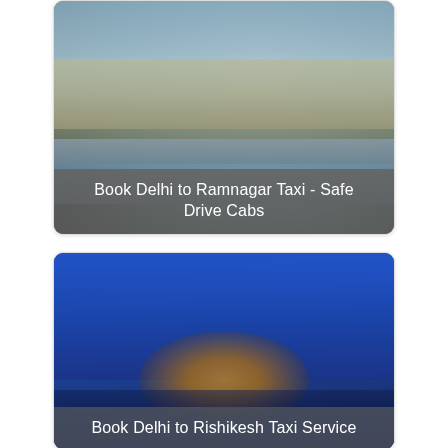[Figure (photo): Blurred landscape photo showing misty hills, water, and sky in muted blue-grey and tan tones. Overlaid caption reads: Book Delhi to Ramnagar Taxi - Safe Drive Cabs]
Book Delhi to Ramnagar Taxi - Safe Drive Cabs
[Figure (photo): Blurred night scene photo dominated by deep blue tones with warm orange/yellow glowing lights at center, likely a temple or landmark reflected in water.]
Book Delhi to Rishikesh Taxi Service